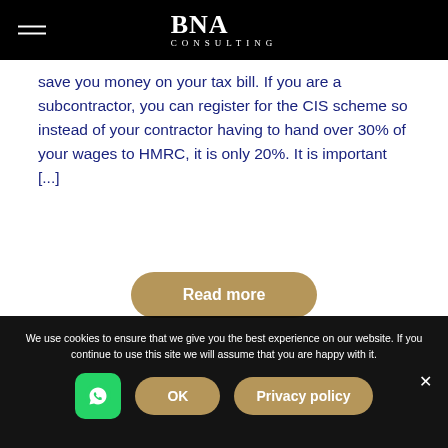BNA CONSULTING
save you money on your tax bill. If you are a subcontractor, you can register for the CIS scheme so instead of your contractor having to hand over 30% of your wages to HMRC, it is only 20%. It is important [...]
Read more
We use cookies to ensure that we give you the best experience on our website. If you continue to use this site we will assume that you are happy with it.
OK
Privacy policy